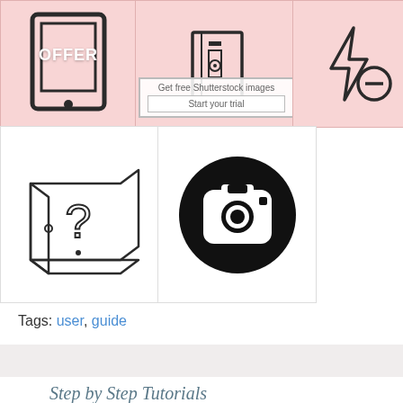[Figure (illustration): Three icon images in a pink/salmon background grid: a phone/tablet icon with OFFER text, a book/manual icon with Shutterstock watermark overlay and Start your trial button, and a lightning bolt with minus sign icon]
[Figure (illustration): Two icons in bottom grid: a book with question mark illustration (line art), and an Instagram logo (black circle with camera icon)]
Tags: user, guide
Step by Step Tutorials